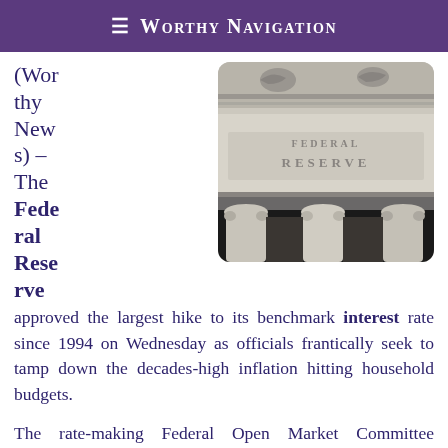☰ Worthy Navigation
(Worthy News) – The Federal Reserve
[Figure (photo): Exterior facade of a Federal Reserve building showing stone columns, ornate architectural details, and engraved text reading FEDERAL RESERVE]
approved the largest hike to its benchmark interest rate since 1994 on Wednesday as officials frantically seek to tamp down the decades-high inflation hitting household budgets.

The rate-making Federal Open Market Committee announced the hike of 0.75%, or 75